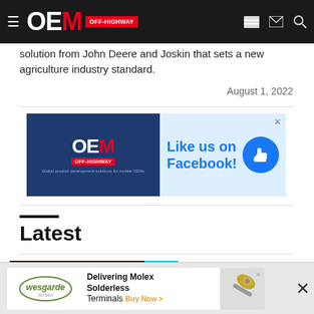OEM OFF-HIGHWAY
solution from John Deere and Joskin that sets a new agriculture industry standard.
August 1, 2022
[Figure (infographic): OEM Off-Highway Facebook advertisement banner: OEM Off-Highway logo on dark blue background on left, 'Like us on Facebook!' with thumbs-up icon on light blue background on right. X close button top right.]
Latest
[Figure (photo): Indoor exhibition or trade show photo with QDS badge visible in upper right corner, dark warm toned interior.]
[Figure (infographic): Bottom advertisement bar: Wesgarde logo, 'Delivering Molex Solderless Terminals Buy Now >' with drill/tool image on right. X close button.]